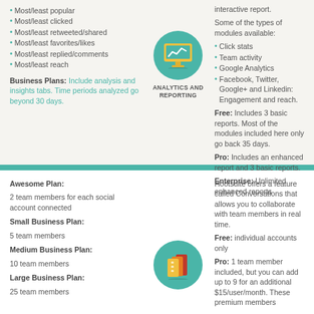Most/least popular
Most/least clicked
Most/least retweeted/shared
Most/least favorites/likes
Most/least replied/comments
Most/least reach
Business Plans: Include analysis and insights tabs. Time periods analyzed go beyond 30 days.
[Figure (illustration): Teal circle icon with a computer monitor showing a line chart, labeled ANALYTICS AND REPORTING]
interactive report.

Some of the types of modules available:

Click stats
Team activity
Google Analytics
Facebook, Twitter, Google+ and Linkedin: Engagement and reach.

Free: Includes 3 basic reports. Most of the modules included here only go back 35 days.

Pro: Includes an enhanced report and 3 basic reports.

Enterprise: Unlimited enhanced reports
Awesome Plan:
2 team members for each social account connected

Small Business Plan:
5 team members

Medium Business Plan:
10 team members

Large Business Plan:
25 team members
[Figure (illustration): Teal circle icon with stacked binders/books illustration]
Hootsuite offers a feature called Conversations that allows you to collaborate with team members in real time.

Free: individual accounts only

Pro: 1 team member included, but you can add up to 9 for an additional $15/user/month. These premium members